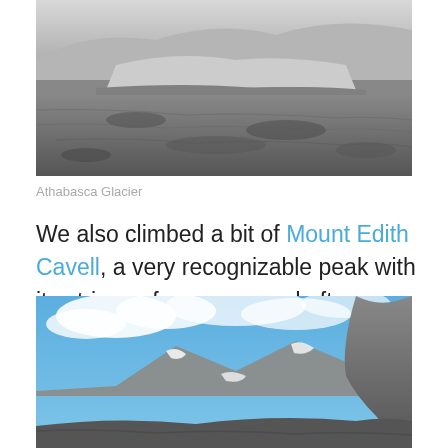[Figure (photo): Black and white photograph of Athabasca Glacier showing a barren rocky landscape with a glacier and water in the middle ground, mountains in the background]
Athabasca Glacier
We also climbed a bit of Mount Edith Cavell, a very recognizable peak with its stripes of snow, named after an English nurse who was executed by the Germans during WWI.
[Figure (photo): Color photograph of a mountain peak (Mount Edith Cavell) with blue sky, white clouds, rocky cliffs in the foreground, and snow-capped peaks in the background]